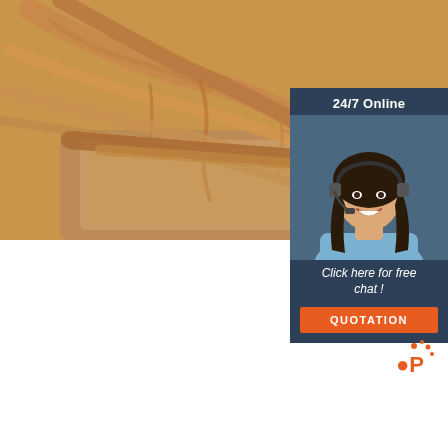[Figure (photo): Close-up photo of dried ginseng roots on a wooden cutting board]
[Figure (photo): Sidebar with '24/7 Online' header in dark blue, photo of a smiling woman with headset, 'Click here for free chat!' text, and orange QUOTATION button]
Cananga Odorata (Ylang Ylang) Flower oil Market Business
2022-1-2u2002·u2002Cananga Odorata (Ylang Ylang) Flower oil Market Business Opportunities, Future Prospect, Top-Players, Types, Growth, Demand and Industry Forecast To 2029 May 4, 2020 GMT Pune, Maharashtra, May 04, 2020 (Wired Release) Prudour Pvt. Ltd: The COVID-19 explosion is now traveling around the world, this report take-up the impact